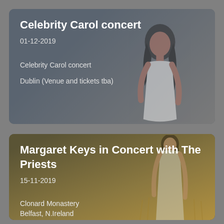Celebrity Carol concert
01-12-2019
Celebrity Carol concert
Dublin (Venue and tickets tba)
Margaret Keys in Concert with The Priests
15-11-2019
Clonard Monastery
Belfast, N.Ireland